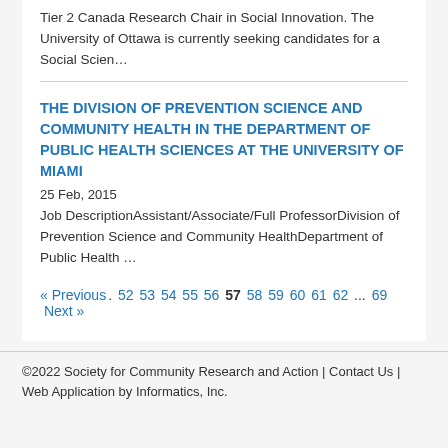Tier 2 Canada Research Chair in Social Innovation. The University of Ottawa is currently seeking candidates for a Social Scien…
THE DIVISION OF PREVENTION SCIENCE AND COMMUNITY HEALTH IN THE DEPARTMENT OF PUBLIC HEALTH SCIENCES AT THE UNIVERSITY OF MIAMI
25 Feb, 2015
Job DescriptionAssistant/Associate/Full ProfessorDivision of Prevention Science and Community HealthDepartment of Public Health …
« Previous  .  52  53  54  55  56  57  58  59  60  61  62  ...  69  Next »
©2022 Society for Community Research and Action | Contact Us | Web Application by Informatics, Inc.